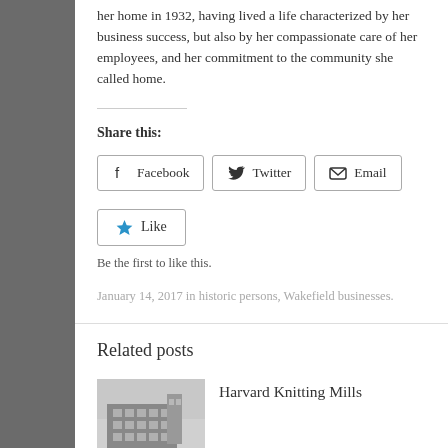her home in 1932, having lived a life characterized by her business success, but also by her compassionate care of her employees, and her commitment to the community she called home.
Share this:
[Figure (infographic): Social share buttons for Facebook, Twitter, and Email]
[Figure (infographic): Like button with star icon]
Be the first to like this.
January 14, 2017 in historic persons, Wakefield businesses.
Related posts
[Figure (photo): Black and white photo of Harvard Knitting Mills building]
Harvard Knitting Mills